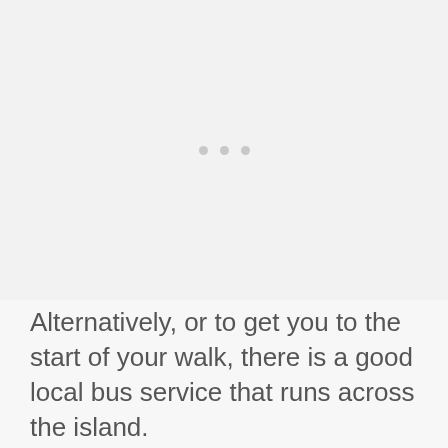[Figure (other): Image placeholder area with three dots indicating loading or carousel indicators]
Alternatively, or to get you to the start of your walk, there is a good local bus service that runs across the island.
Liberty Bus, as it's known, has its main